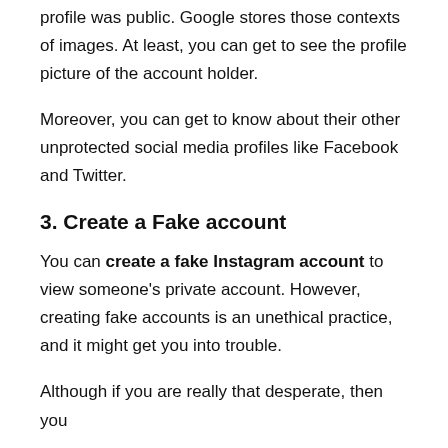profile was public. Google stores those contexts of images. At least, you can get to see the profile picture of the account holder.
Moreover, you can get to know about their other unprotected social media profiles like Facebook and Twitter.
3. Create a Fake account
You can create a fake Instagram account to view someone’s private account. However, creating fake accounts is an unethical practice, and it might get you into trouble.
Although if you are really that desperate, then you